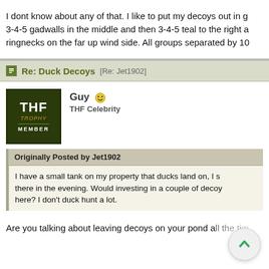I dont know about any of that. I like to put my decoys out in g... 3-4-5 gadwalls in the middle and then 3-4-5 teal to the right a... ringnecks on the far up wind side. All groups separated by 10...
Re: Duck Decoys [Re: Jet1902]
Guy
THF Celebrity
Originally Posted by Jet1902
I have a small tank on my property that ducks land on, I s... there in the evening. Would investing in a couple of decoy... here? I don't duck hunt a lot.
Are you talking about leaving decoys on your pond all the tim...